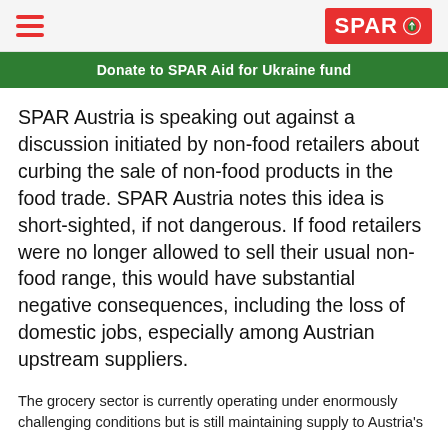SPAR
Donate to SPAR Aid for Ukraine fund
SPAR Austria is speaking out against a discussion initiated by non-food retailers about curbing the sale of non-food products in the food trade. SPAR Austria notes this idea is short-sighted, if not dangerous. If food retailers were no longer allowed to sell their usual non-food range, this would have substantial negative consequences, including the loss of domestic jobs, especially among Austrian upstream suppliers.
The grocery sector is currently operating under enormously challenging conditions but is still maintaining supply to Austria's